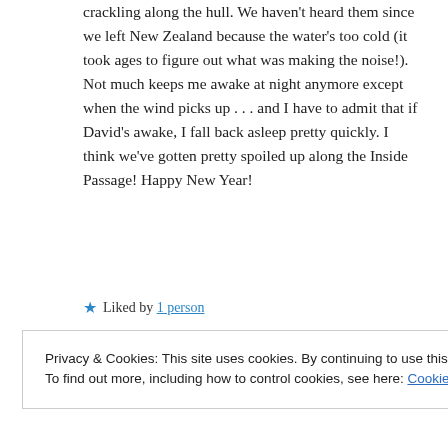crackling along the hull. We haven't heard them since we left New Zealand because the water's too cold (it took ages to figure out what was making the noise!). Not much keeps me awake at night anymore except when the wind picks up . . . and I have to admit that if David's awake, I fall back asleep pretty quickly. I think we've gotten pretty spoiled up along the Inside Passage! Happy New Year!
★ Liked by 1 person
Privacy & Cookies: This site uses cookies. By continuing to use this website, you agree to their use.
To find out more, including how to control cookies, see here: Cookie Policy
Close and accept